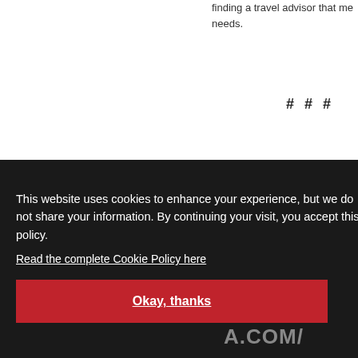finding a travel advisor that me... needs.
# # #
This website uses cookies to enhance your experience, but we do not share your information. By continuing your visit, you accept this policy.
Read the complete Cookie Policy here
Okay, thanks
TO LEARN MORE ABOUT TRAVEL GRO... .COM
EW REL... .COM/...